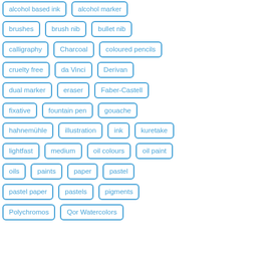alcohol based ink
alcohol marker
brushes
brush nib
bullet nib
calligraphy
Charcoal
coloured pencils
cruelty free
da Vinci
Derivan
dual marker
eraser
Faber-Castell
fixative
fountain pen
gouache
hahnemühle
illustration
ink
kuretake
lightfast
medium
oil colours
oil paint
oils
paints
paper
pastel
pastel paper
pastels
pigments
Polychromos
Qor Watercolors